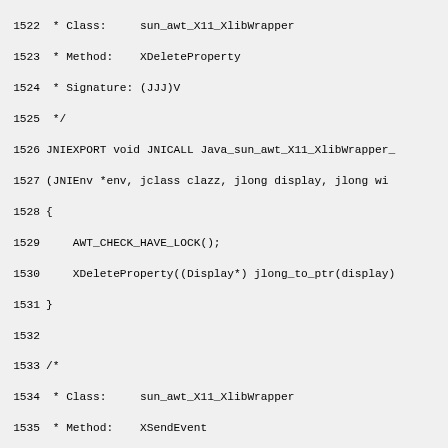Code listing lines 1522-1551, C/JNI source code for sun_awt_X11_XlibWrapper including XDeleteProperty and XSendEvent methods